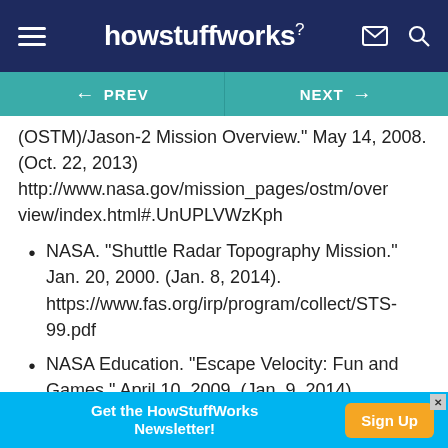howstuffworks
← PREV   NEXT →
(OSTM)/Jason-2 Mission Overview." May 14, 2008. (Oct. 22, 2013) http://www.nasa.gov/mission_pages/ostm/overview/index.html#.UnUPLVWzKph
NASA. "Shuttle Radar Topography Mission." Jan. 20, 2000. (Jan. 8, 2014). https://www.fas.org/irp/program/collect/STS-99.pdf
NASA Education. "Escape Velocity: Fun and Games." April 10, 2009. (Jan. 9, 2014) http://www.nasa.gov/audience/foreducators/k-
Get the HowStuffWorks Newsletter! Sign Up